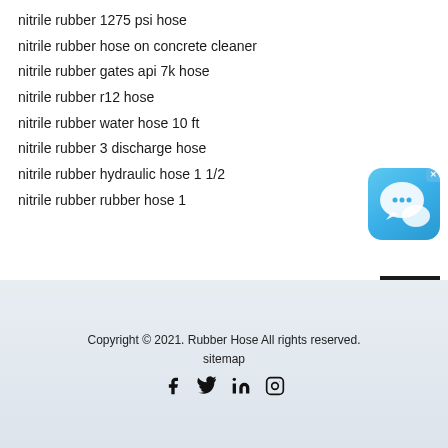nitrile rubber 1275 psi hose
nitrile rubber hose on concrete cleaner
nitrile rubber gates api 7k hose
nitrile rubber r12 hose
nitrile rubber water hose 10 ft
nitrile rubber 3 discharge hose
nitrile rubber hydraulic hose 1 1/2
nitrile rubber rubber hose 1
[Figure (illustration): Blue chat/messaging app icon with speech bubbles, with an X close button in the top-right corner]
[Figure (other): Dark/black scroll-to-top button with double chevron up arrows]
Copyright © 2021. Rubber Hose All rights reserved.
sitemap
[Figure (other): Social media icons: Facebook, Twitter, LinkedIn, Instagram]